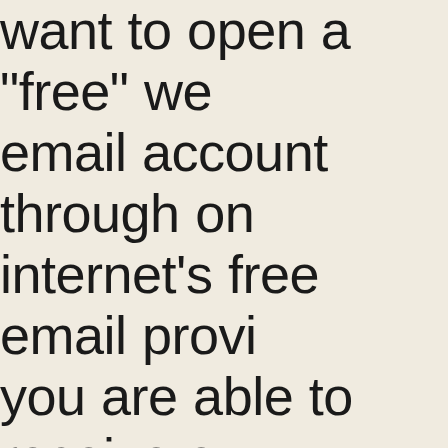want to open a "free" web email account through one of the internet's free email providers, you are able to receive emails at that account, you can be relatively certain that your email account is somehow filtering out the emails from our community web site.